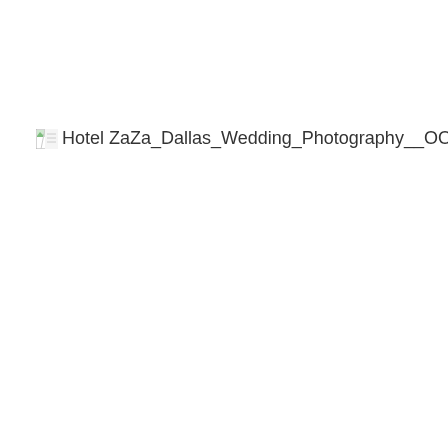[Figure (photo): Broken image placeholder showing alt text: Hotel ZaZa_Dallas_Wedding_Photography__OO15]